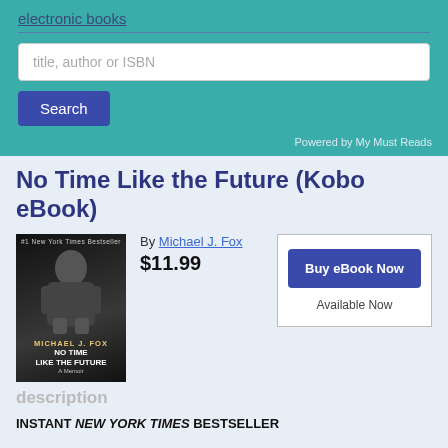electronic books
title, author or ISBN
Search
Powered by My Must Reads
No Time Like the Future (Kobo eBook)
By Michael J. Fox
$11.99
[Figure (photo): Book cover of 'No Time Like the Future' by Michael J. Fox, showing a black and white photograph of a man in a leather jacket sitting casually.]
Buy eBook Now
Available Now
description
INSTANT NEW YORK TIMES BESTSELLER